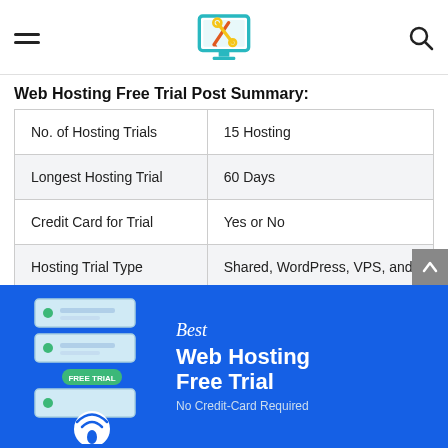Website hosting review site header with hamburger menu, logo, and search icon
Web Hosting Free Trial Post Summary:
| No. of Hosting Trials | 15 Hosting |
| Longest Hosting Trial | 60 Days |
| Credit Card for Trial | Yes or No |
| Hosting Trial Type | Shared, WordPress, VPS, and |
[Figure (infographic): Blue banner with server illustration labeled FREE TRIAL and text: Best (cursive), Web Hosting Free Trial, No Credit-Card Required]